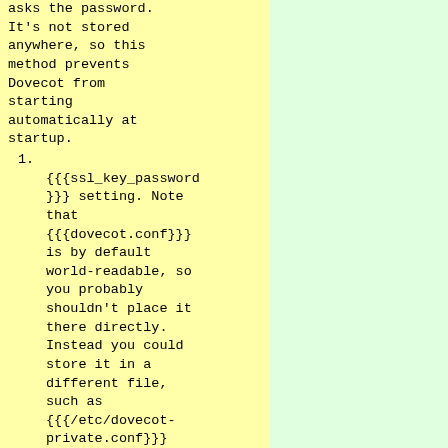asks the password. It's not stored anywhere, so this method prevents Dovecot from starting automatically at startup.
1. {{{ssl_key_password}}} setting. Note that {{{dovecot.conf}}} is by default world-readable, so you probably shouldn't place it there directly. Instead you could store it in a different file, such as {{{/etc/dovecot-private.conf}}} containing:
  {{{